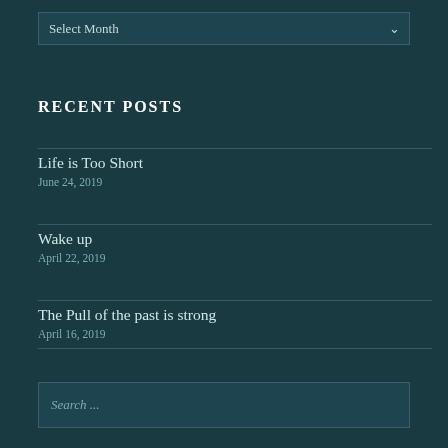Select Month
RECENT POSTS
Life is Too Short
June 24, 2019
Wake up
April 22, 2019
The Pull of the past is strong
April 16, 2019
Search ...